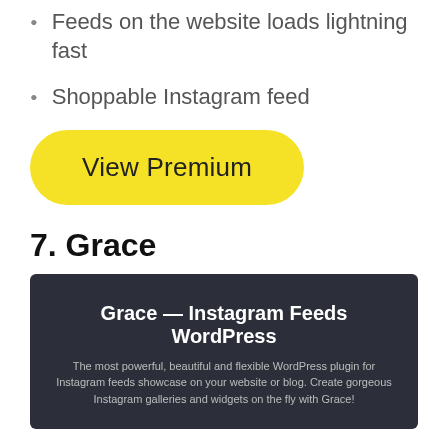Feeds on the website loads lightning fast
Shoppable Instagram feed
[Figure (other): Yellow rounded button labeled 'View Premium']
7. Grace
[Figure (screenshot): Dark banner image for Grace — Instagram Feeds WordPress plugin. Title: 'Grace — Instagram Feeds WordPress'. Subtitle: 'The most powerful, beautiful and flexible WordPress plugin for Instagram feeds showcase on your website or blog. Create gorgeous Instagram galleries and widgets on the fly with Grace!']
Grace is an easy WordPress plugin for Instagram to add stunning Instagram feeds in your sidebar or blog post. You can embed photos based on